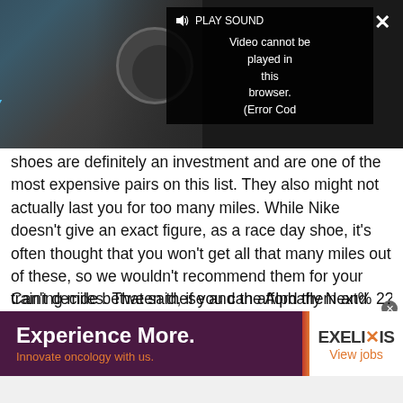[Figure (screenshot): Video player overlay showing error message 'Video cannot be played in this browser. (Error Cod' with PLAY SOUND button, close X button, and expand/resize button. Background shows thumbnail with blue italic text 'Inst REV' and a dark camera image.]
shoes are definitely an investment and are one of the most expensive pairs on this list. They also might not actually last you for too many miles. While Nike doesn't give an exact figure, as a race day shoe, it's often thought that you won't get all that many miles out of these, so we wouldn't recommend them for your training miles. That said, if you can afford them and you're looking for a PR, you won't be disappointed.
Can't decide between these and the Alphafly Next% 2?
[Figure (other): Advertisement banner for Exelixis. Left side dark purple with white bold text 'Experience More.' and orange text 'Innovate oncology with us.' Right side white with Exelixis logo and orange 'View jobs' text.]